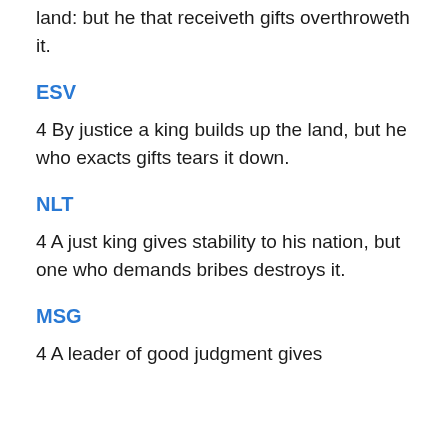land: but he that receiveth gifts overthroweth it.
ESV
4 By justice a king builds up the land, but he who exacts gifts tears it down.
NLT
4 A just king gives stability to his nation, but one who demands bribes destroys it.
MSG
4 A leader of good judgment gives